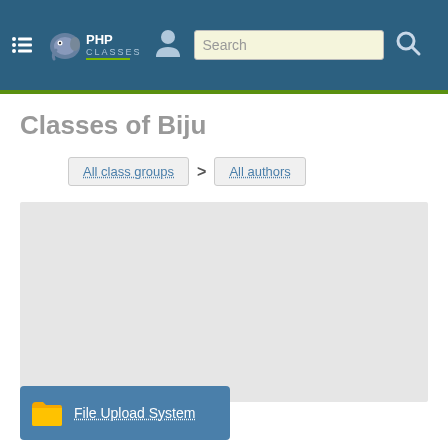PHPClasses - Search
Classes of Biju
All class groups > All authors
[Figure (other): Advertisement placeholder area (gray rectangle)]
File Upload System